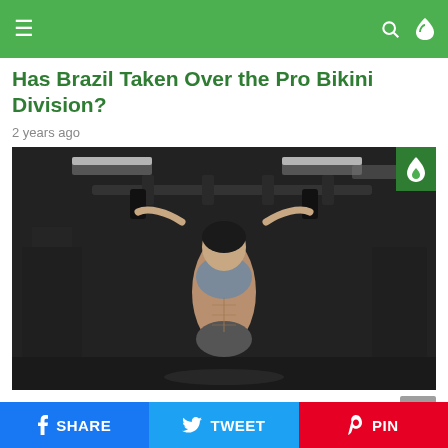Navigation bar with menu, search, and theme toggle
Has Brazil Taken Over the Pro Bikini Division?
2 years ago
[Figure (photo): Athletic woman doing pull-ups in a gym, wearing a grey sports bra, with defined muscles visible. Dark gym background with overhead lighting.]
579 Views  FITNESS  SUPPLEMENTS
SHARE  TWEET  PIN